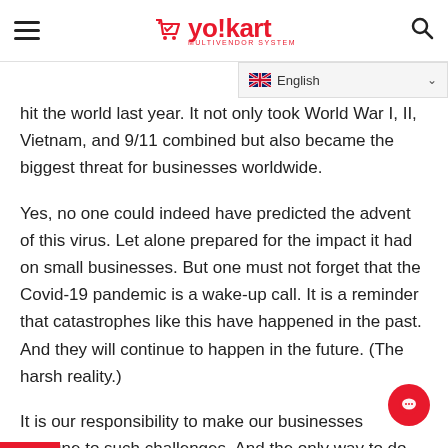yo!kart MULTIVENDOR SYSTEM
hit the world last year. It not only took World War I, II, Vietnam, and 9/11 combined but also became the biggest threat for businesses worldwide.
Yes, no one could indeed have predicted the advent of this virus. Let alone prepared for the impact it had on small businesses. But one must not forget that the Covid-19 pandemic is a wake-up call. It is a reminder that catastrophes like this have happened in the past. And they will continue to happen in the future. (The harsh reality.)
It is our responsibility to make our businesses immune to such challenges. And the only way to do that is to get your business vaccinated i.e. shift your business online. Now!